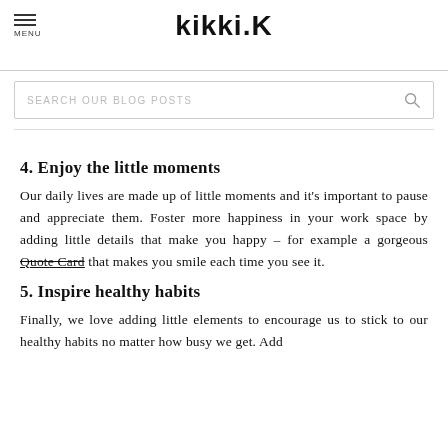kikki.K
[Figure (screenshot): Search bar with placeholder text 'SEARCH OUR BLOG POSTS' and a magnifying glass icon on the right]
4. Enjoy the little moments
Our daily lives are made up of little moments and it's important to pause and appreciate them. Foster more happiness in your work space by adding little details that make you happy – for example a gorgeous Quote Card that makes you smile each time you see it.
5. Inspire healthy habits
Finally, we love adding little elements to encourage us to stick to our healthy habits no matter how busy we get. Add